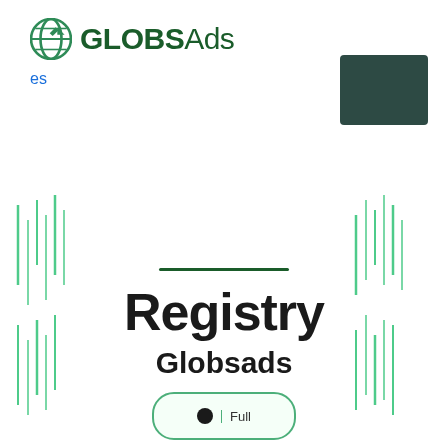[Figure (logo): GLOBSAds logo with green globe icon and text]
es
[Figure (other): Dark green rectangular button in top right corner]
[Figure (other): Decorative vertical barcode-style lines on left side]
[Figure (other): Decorative vertical barcode-style lines on right side]
Registry
Globsads
[Figure (other): Rounded button with dot and text at bottom]